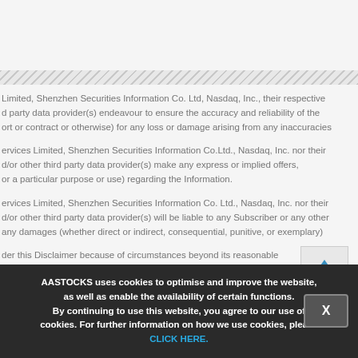Limited, Shenzhen Securities Information Co. Ltd, Nasdaq, Inc., their respective d party data provider(s) endeavour to ensure the accuracy and reliability of the ort or contract or otherwise) for any loss or damage arising from any inaccuracies
ervices Limited, Shenzhen Securities Information Co.Ltd., Nasdaq, Inc. nor their d/or other third party data provider(s) make any express or implied offers, or a particular purpose or use) regarding the Information.
ervices Limited, Shenzhen Securities Information Co. Ltd., Nasdaq, Inc. nor their d/or other third party data provider(s) will be liable to any Subscriber or any other any damages (whether direct or indirect, consequential, punitive, or exemplary)
der this Disclaimer because of circumstances beyond its reasonable control, restrictions, strikes, wars, virus outbreak, network failures or telecommunications
AASTOCKS uses cookies to optimise and improve the website, as well as enable the availability of certain functions. By continuing to use this website, you agree to our use of cookies. For further information on how we use cookies, please CLICK HERE.